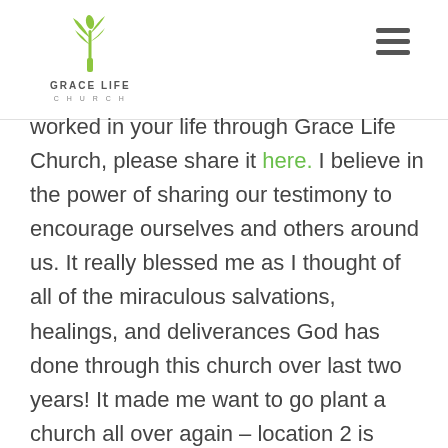GRACE LIFE CHURCH
worked in your life through Grace Life Church, please share it here.  I believe in the power of sharing our testimony to encourage ourselves and others around us.  It really blessed me as I thought of all of the miraculous salvations, healings, and deliverances God has done through this church over last two years!  It made me want to go plant a church all over again – location 2 is coming.  How do I know? The testimony of Jesus or how He started an awesome church on the basis of a dream He